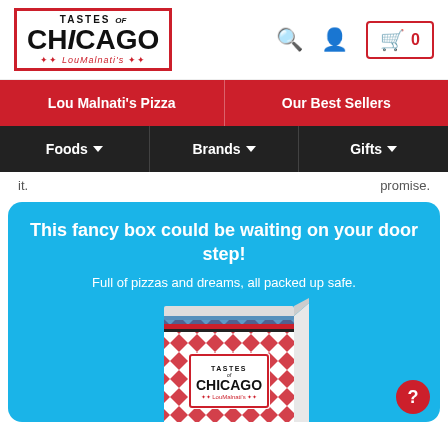[Figure (logo): Tastes of Chicago Lou Malnati's logo with red border]
Lou Malnati's Pizza
Our Best Sellers
Foods
Brands
Gifts
it.                       promise.
This fancy box could be waiting on your door step!
Full of pizzas and dreams, all packed up safe.
[Figure (photo): Tastes of Chicago branded shipping box with red diamond pattern]